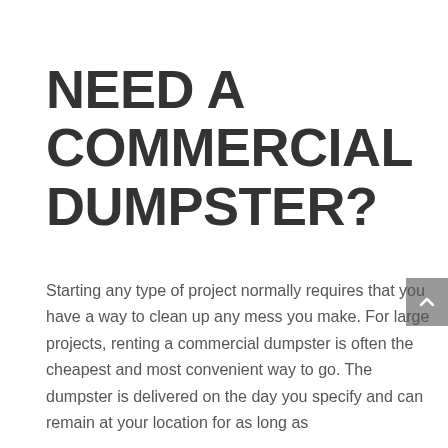NEED A COMMERCIAL DUMPSTER?
Starting any type of project normally requires that you have a way to clean up any mess you make. For large projects, renting a commercial dumpster is often the cheapest and most convenient way to go. The dumpster is delivered on the day you specify and can remain at your location for as long as